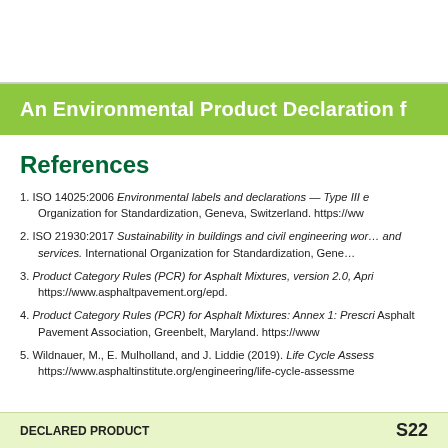An Environmental Product Declaration f
References
1. ISO 14025:2006 Environmental labels and declarations — Type III e… Organization for Standardization, Geneva, Switzerland. https://ww
2. ISO 21930:2017 Sustainability in buildings and civil engineering wor… and services. International Organization for Standardization, Gene…
3. Product Category Rules (PCR) for Asphalt Mixtures, version 2.0, Apr… https://www.asphaltpavement.org/epd.
4. Product Category Rules (PCR) for Asphalt Mixtures: Annex 1: Prescri… Asphalt Pavement Association, Greenbelt, Maryland. https://www
5. Wildnauer, M., E. Mulholland, and J. Liddie (2019). Life Cycle Assess… https://www.asphaltinstitute.org/engineering/life-cycle-assessme…
DECLARED PRODUCT S22